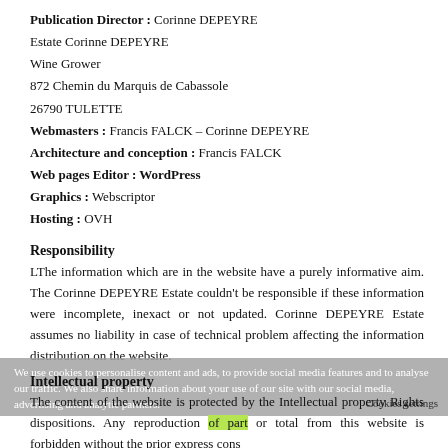Publication Director : Corinne DEPEYRE
Estate Corinne DEPEYRE
Wine Grower
872 Chemin du Marquis de Cabassole
26790 TULETTE
Webmasters : Francis FALCK – Corinne DEPEYRE
Architecture and conception : Francis FALCK
Web pages Editor : WordPress
Graphics : Webscriptor
Hosting : OVH
Responsibility
LThe information which are in the website have a purely informative aim. The Corinne DEPEYRE Estate couldn't be responsible if these information were incomplete, inexact or not updated. Corinne DEPEYRE Estate assumes no liability in case of technical problem affecting the information distribution on the website.
Intellectual property
The content of the website is protected by the Intellectual property Rights dispositions. Any reproduction of part or total from this website is forbidden without the prior express cons